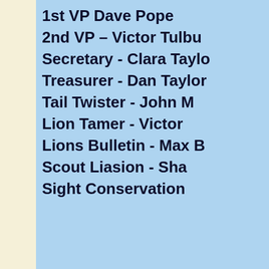1st VP Dave Pope
2nd VP – Victor Tulbu
Secretary - Clara Taylo
Treasurer - Dan Taylor
Tail Twister - John M
Lion Tamer - Victor
Lions Bulletin - Max B
Scout Liasion - Sha
Sight Conservation